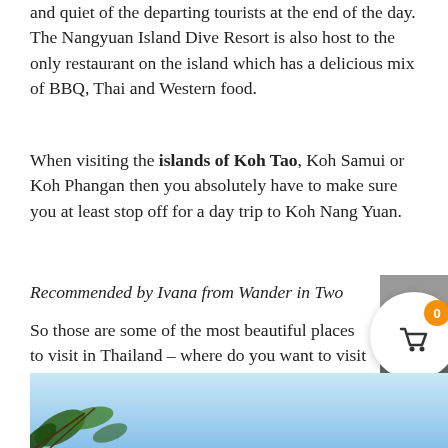and quiet of the departing tourists at the end of the day. The Nangyuan Island Dive Resort is also host to the only restaurant on the island which has a delicious mix of BBQ, Thai and Western food.
When visiting the islands of Koh Tao, Koh Samui or Koh Phangan then you absolutely have to make sure you at least stop off for a day trip to Koh Nang Yuan.
Recommended by Ivana from Wander in Two
So those are some of the most beautiful places to visit in Thailand – where do you want to visit next? Let us know in the comments below!
CLICK THE IMAGE BELOW TO PIN
[Figure (photo): Partial photo of tropical scenery with blue sky and leaves/branches in foreground]